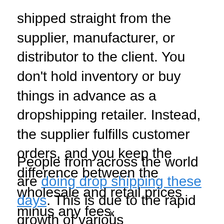shipped straight from the supplier, manufacturer, or distributor to the client. You don't hold inventory or buy things in advance as a dropshipping retailer. Instead, the supplier fulfills customer orders, and you keep the difference between the wholesale and retail prices minus any fees.
People from across the world are doing drop shipping these days. This is due to the rapid growth of various
x